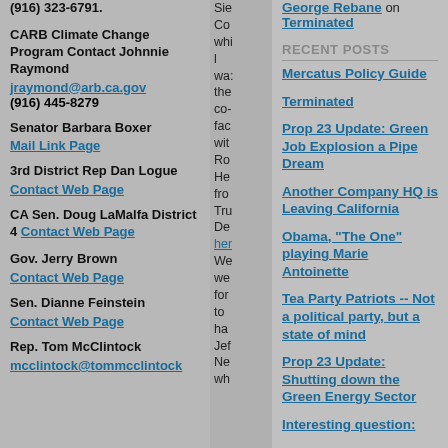(916) 323-6791.
CARB Climate Change Program Contact Johnnie Raymond
jraymond@arb.ca.gov
(916) 445-8279
Senator Barbara Boxer
Mail Link Page
3rd District Rep Dan Logue
Contact Web Page
CA Sen. Doug LaMalfa District 4 Contact Web Page
Gov. Jerry Brown
Contact Web Page
Sen. Dianne Feinstein
Contact Web Page
Rep. Tom McClintock
mcclintock@tommcclintock
Sie
Co
whi
l
wa:
the
co-
fac
wit
Ro
He
fro
Tru
De
her
We
we
for
to
ha
Jef
Ne
wh
George Rebane on Terminated
RECENT POSTS
Mercatus Policy Guide
Terminated
Prop 23 Update: Green Job Explosion a Pipe Dream
Another Company HQ is Leaving California
Obama, "The One" playing Marie Antoinette
Tea Party Patriots -- Not a political party, but a state of mind
Prop 23 Update: Shutting down the Green Energy Sector
Interesting question: